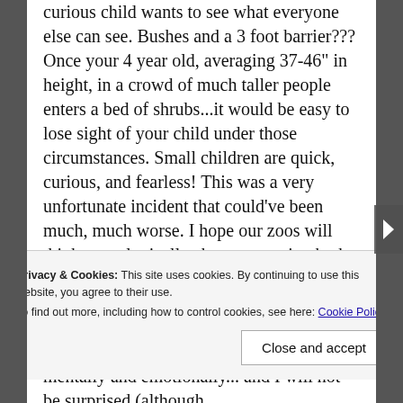curious child wants to see what everyone else can see. Bushes and a 3 foot barrier??? Once your 4 year old, averaging 37-46" in height, in a crowd of much taller people enters a bed of shrubs...it would be easy to lose sight of your child under those circumstances. Small children are quick, curious, and fearless! This was a very unfortunate incident that could've been much, much worse. I hope our zoos will think more logically about protecting both the welfare of the animals they keep AND more importantly the safety of small, curious visitors. Thank God this child wasn't killed! He surely will suffer mentally and emotionally... and I will not be surprised (although
Privacy & Cookies: This site uses cookies. By continuing to use this website, you agree to their use.
To find out more, including how to control cookies, see here: Cookie Policy